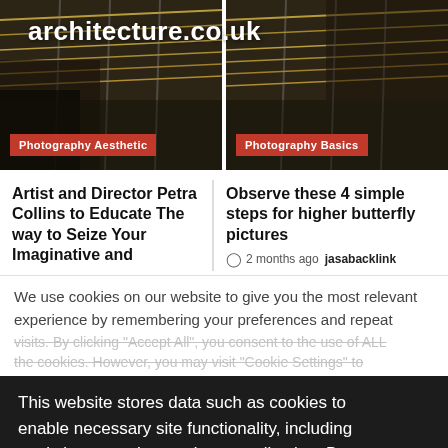[Figure (photo): Two side-by-side dark photos of a guitar neck/strings with site title overlay 'architecture.co.uk' in white bold text across both images. Left image has 'Photography Aesthetic' badge, right image has 'Photography Basics' badge.]
Artist and Director Petra Collins to Educate The way to Seize Your Imaginative and
Observe these 4 simple steps for higher butterfly pictures
2 months ago jasabacklink
We use cookies on our website to give you the most relevant experience by remembering your preferences and repeat visits. By clicking "Accept All", you consent to the use of ALL the cookies. However, you may visit "Cookie Settings" to provide a controlled consent.
This website stores data such as cookies to enable necessary site functionality, including analytics, targeting, and personalization. By remaining on this website you indicate your consent Cookie Policy